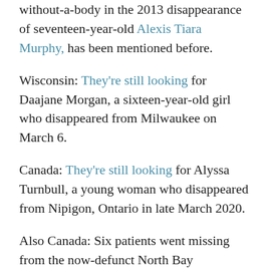without-a-body in the 2013 disappearance of seventeen-year-old Alexis Tiara Murphy, has been mentioned before.
Wisconsin: They're still looking for Daajane Morgan, a sixteen-year-old girl who disappeared from Milwaukee on March 6.
Canada: They're still looking for Alyssa Turnbull, a young woman who disappeared from Nipigon, Ontario in late March 2020.
Also Canada: Six patients went missing from the now-defunct North Bay Psychiatric Hospital in Toronto, Ontario between 1966 and 2010. They have never been found.
(partial text cut off at bottom)